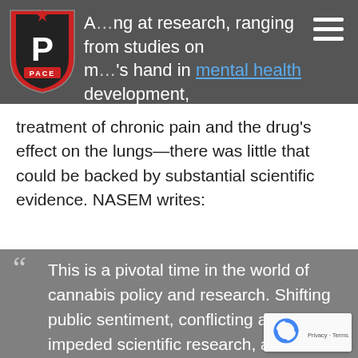A[…]ng at research, ranging from studies on m[…]'s hand in mental health development, treatment of chronic pain and the drug's effect on the lungs—there was little that could be backed by substantial scientific evidence. NASEM writes:
treatment of chronic pain and the drug's effect on the lungs—there was little that could be backed by substantial scientific evidence. NASEM writes:
This is a pivotal time in the world of cannabis policy and research. Shifting public sentiment, conflicting and impeded scientific research, and legislative battles have fueled the debate about what, if any, harms or benefits can be